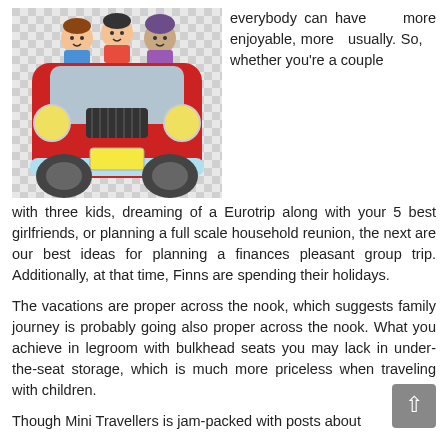[Figure (illustration): Cartoon illustration of a red car viewed from the front with people inside, including children. Car has yellow headlights, light blue bumper, and a yellow license plate area.]
everybody can have more enjoyable, more usually. So, whether you're a couple with three kids, dreaming of a Eurotrip along with your 5 best girlfriends, or planning a full scale household reunion, the next are our best ideas for planning a finances pleasant group trip. Additionally, at that time, Finns are spending their holidays.
The vacations are proper across the nook, which suggests family journey is probably going also proper across the nook. What you achieve in legroom with bulkhead seats you may lack in under-the-seat storage, which is much more priceless when traveling with children.
Though Mini Travellers is jam-packed with posts about